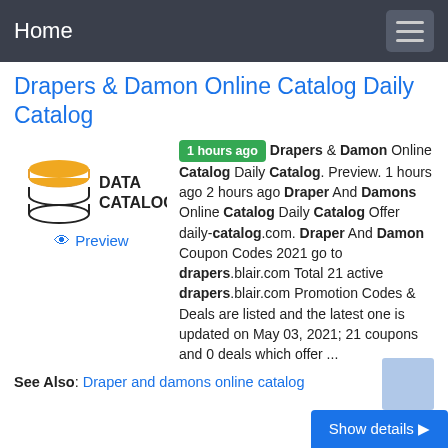Home
Drapers & Damon Online Catalog Daily Catalog
[Figure (logo): Data Catalog logo with stacked coins/discs icon in orange and a database stack]
Preview
1 hours ago Drapers & Damon Online Catalog Daily Catalog. Preview. 1 hours ago 2 hours ago Draper And Damons Online Catalog Daily Catalog Offer daily-catalog.com. Draper And Damon Coupon Codes 2021 go to drapers.blair.com Total 21 active drapers.blair.com Promotion Codes & Deals are listed and the latest one is updated on May 03, 2021; 21 coupons and 0 deals which offer ...
See Also: Draper and damons online catalog